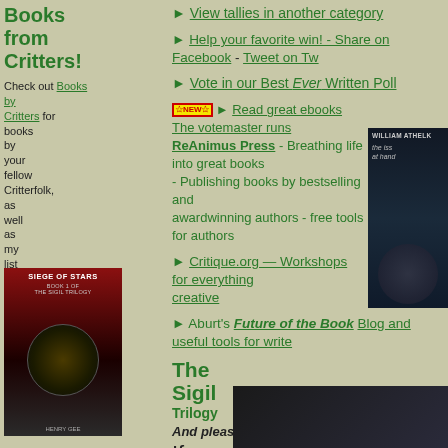Books from Critters!
Check out Books by Critters for books by your fellow Critterfolk, as well as my list of recommended books for writers.
► View tallies in another category
► Help your favorite win! - Share on Facebook - Tweet on Twitter
► Vote in our Best Ever Written Poll
[NEW] ► Read great ebooks The votemaster runs ReAnimus Press - Breathing life into great books - Publishing books by bestselling and awardwinning authors - free tools for authors
► Critique.org — Workshops for everything creative
► Aburt's Future of the Book Blog and useful tools for writers
[Figure (photo): Book cover: Siege of Stars - Book 1 of The Sigil Trilogy by Henry Gee]
[Figure (photo): Book cover: William Atheling - The issue at hand]
The Sigil Trilogy
And please check out our sponsors!—
If you're